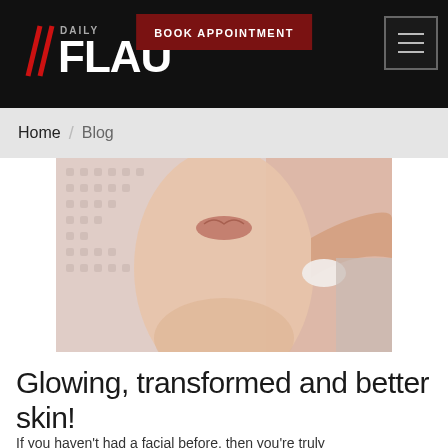BOOK APPOINTMENT | FLAUNT [logo] [menu]
Home / Blog
[Figure (photo): Close-up of a woman's face and neck receiving a facial treatment, with a textured cloth mask applied to her face and a hand holding a cotton pad near her jaw.]
Glowing, transformed and better skin!
If you haven't had a facial before, then you're truly...